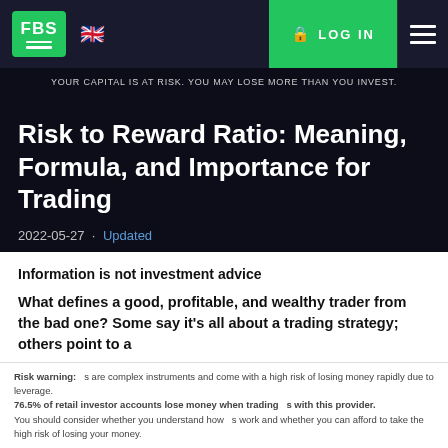FBS | LOG IN | YOUR CAPITAL IS AT RISK. YOU MAY LOSE MORE THAN YOU INVEST.
Risk to Reward Ratio: Meaning, Formula, and Importance for Trading
2022-05-27 · Updated
Information is not investment advice
What defines a good, profitable, and wealthy trader from the bad one? Some say it's all about a trading strategy; others point to a
Risk warning: s are complex instruments and come with a high risk of losing money rapidly due to leverage. 76.5% of retail investor accounts lose money when trading s with this provider. You should consider whether you understand how s work and whether you can afford to take the high risk of losing your money.